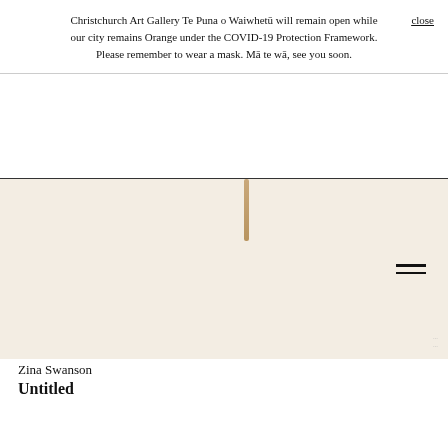Christchurch Art Gallery Te Puna o Waiwhetū will remain open while our city remains Orange under the COVID-19 Protection Framework. Please remember to wear a mask. Mā te wā, see you soon.
close
[Figure (photo): A close-up photograph of a minimalist artwork against a cream/off-white background. A single thin vertical stick or rod element is visible near the center-top of the image, appearing in a warm tan/beige color. The overall composition is very spare and minimal.]
Zina Swanson
Untitled